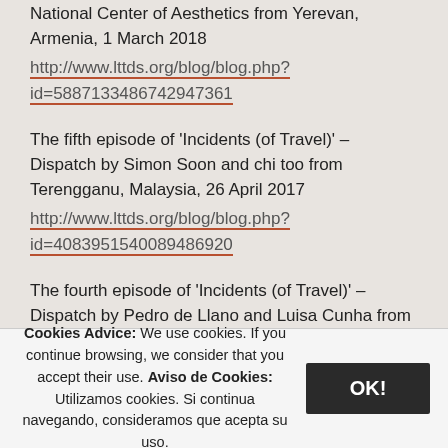National Center of Aesthetics from Yerevan, Armenia, 1 March 2018
http://www.lttds.org/blog/blog.php?id=588713348674294736 1
The fifth episode of 'Incidents (of Travel)' – Dispatch by Simon Soon and chi too from Terengganu, Malaysia, 26 April 2017
http://www.lttds.org/blog/blog.php?id=408395154008948692 0
The fourth episode of 'Incidents (of Travel)' – Dispatch by Pedro de Llano and Luisa Cunha from Lisbon, Portugal, 2 March 2017
http://www.lttds.org/blog/blog.php?...
Cookies Advice: We use cookies. If you continue browsing, we consider that you accept their use. Aviso de Cookies: Utilizamos cookies. Si continua navegando, consideramos que acepta su uso.